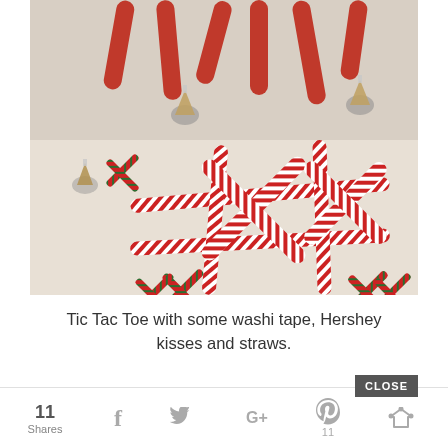[Figure (photo): Photo of a Tic Tac Toe game made with red and white striped washi tape forming the grid, red and white candy cane striped straws arranged as X pieces, small green and red chevron straws as X pieces, and Hershey kisses as O pieces on a light surface.]
Tic Tac Toe with some washi tape, Hershey kisses and straws.
[Figure (photo): Partial view of a next image strip with blue/teal tones, partially obscured.]
11 Shares  f  Twitter  G+  Pinterest 11  [crown icon]